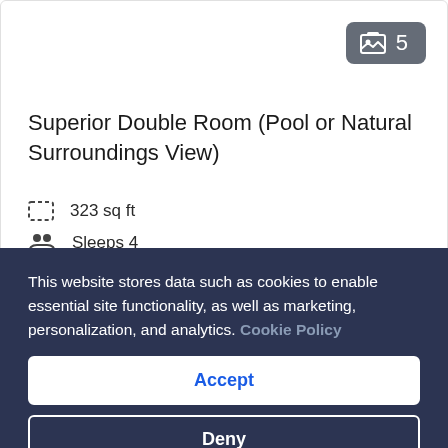[Figure (other): Image count badge showing 5 photos for the room]
Superior Double Room (Pool or Natural Surroundings View)
323 sq ft
Sleeps 4
2 Single Beds
This website stores data such as cookies to enable essential site functionality, as well as marketing, personalization, and analytics. Cookie Policy
Accept
Deny